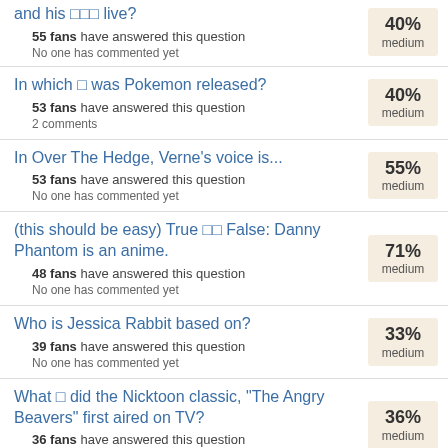and his □□□ live? | 55 fans have answered this question | No one has commented yet | 40% medium
In which □ was Pokemon released? | 53 fans have answered this question | 2 comments | 40% medium
In Over The Hedge, Verne's voice is... | 53 fans have answered this question | No one has commented yet | 55% medium
(this should be easy) True □□ False: Danny Phantom is an anime. | 48 fans have answered this question | No one has commented yet | 71% medium
Who is Jessica Rabbit based on? | 39 fans have answered this question | No one has commented yet | 33% medium
What □ did the Nicktoon classic, "The Angry Beavers" first aired on TV? | 36 fans have answered this question | No one has commented yet | 36% medium
What is the name of Rocko's dog? | 71%